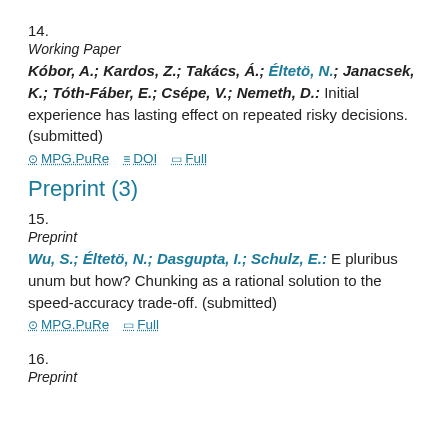14.
Working Paper
Kóbor, A.; Kardos, Z.; Takács, Á.; Éltetö, N.; Janacsek, K.; Tóth-Fáber, E.; Csépe, V.; Nemeth, D.: Initial experience has lasting effect on repeated risky decisions. (submitted)
MPG.PuRe  DOI  Full
Preprint (3)
15.
Preprint
Wu, S.; Éltetö, N.; Dasgupta, I.; Schulz, E.: E pluribus unum but how? Chunking as a rational solution to the speed-accuracy trade-off. (submitted)
MPG.PuRe  Full
16.
Preprint